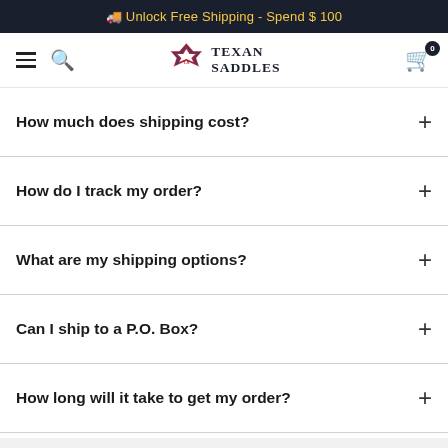🚚 Unlock Free Shipping - Spend $ 100
[Figure (logo): Texan Saddles logo with Texas flag state outline and cart icon]
How much does shipping cost?
How do I track my order?
What are my shipping options?
Can I ship to a P.O. Box?
How long will it take to get my order?